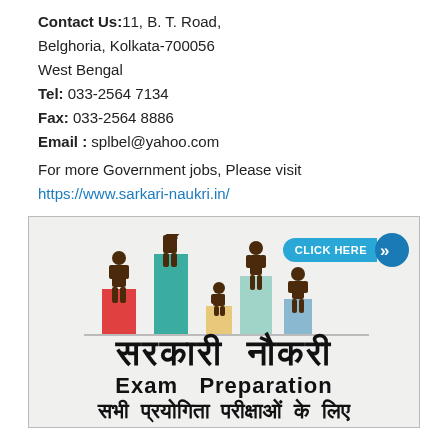Contact Us: 11, B. T. Road, Belghoria, Kolkata-700056 West Bengal
Tel: 033-2564 7134
Fax: 033-2564 8886
Email : splbel@yahoo.com
For more Government jobs, Please visit
https://www.sarkari-naukri.in/
[Figure (infographic): Sarkari Naukri Exam Preparation advertisement banner with figures standing on colored bars and Hindi/English text. Includes a 'CLICK HERE' button with blue arrow. Hindi text reads 'सरकारी नौकरी', subtitle 'Exam Preparation', and bottom text 'सभी प्रयोगिता परीक्षाओं के लिए'.]